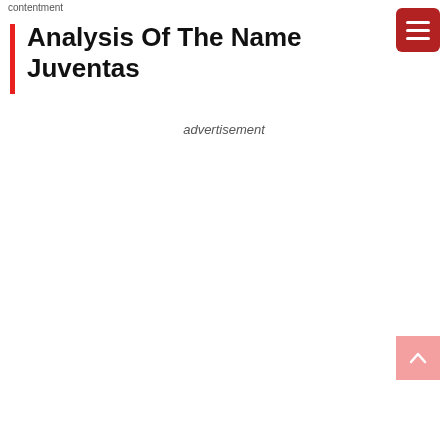contentment
Analysis Of The Name Juventas
advertisement